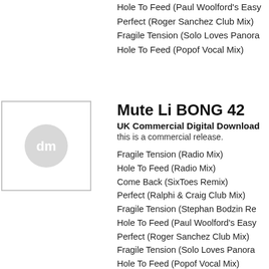Hole To Feed (Paul Woolford's Easy...
Perfect (Roger Sanchez Club Mix)
Fragile Tension (Solo Loves Panora...
Hole To Feed (Popof Vocal Mix)
[Figure (illustration): Album placeholder image with 'dm' logo in grey circle on white background with grey border]
Mute Li BONG 42
UK Commercial Digital Download
this is a commercial release.
Fragile Tension (Radio Mix)
Hole To Feed (Radio Mix)
Come Back (SixToes Remix)
Perfect (Ralphi & Craig Club Mix)
Fragile Tension (Stephan Bodzin Re...
Hole To Feed (Paul Woolford's Easy...
Perfect (Roger Sanchez Club Mix)
Fragile Tension (Solo Loves Panora...
Hole To Feed (Popof Vocal Mix)
Perfect (Ralphi & Jody Club Mix)